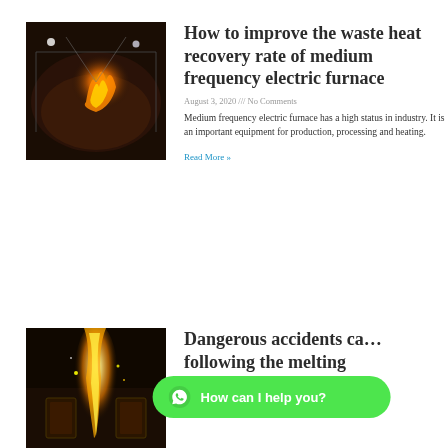[Figure (photo): Industrial electric furnace with flames and glowing metal, dark workshop environment]
How to improve the waste heat recovery rate of medium frequency electric furnace
August 3, 2020 /// No Comments
Medium frequency electric furnace has a high status in industry. It is an important equipment for production, processing and heating.
Read More »
[Figure (photo): Industrial molten metal pour with bright flames, dark foundry setting]
Dangerous accidents ca… following the melting
[Figure (other): WhatsApp chat bubble: How can I help you?]